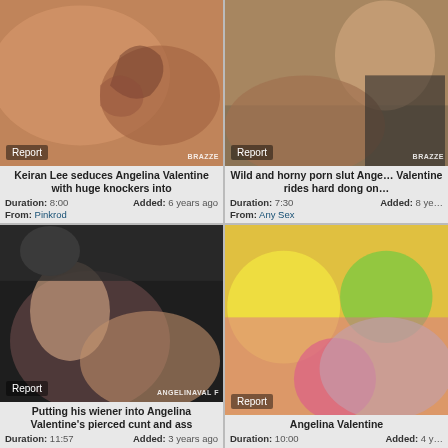[Figure (photo): Video thumbnail top-left: adult content thumbnail with tattoo imagery]
Keiran Lee seduces Angelina Valentine with huge knockers into
Duration: 8:00   Added: 6 years ago
From: Pinkrod
[Figure (photo): Video thumbnail top-right: adult content thumbnail]
Wild and horny porn slut Angelina Valentine rides hard dong on
Duration: 7:30   Added: 8 years ago
From: Any Sex
[Figure (photo): Video thumbnail bottom-left: adult content thumbnail]
Putting his wiener into Angelina Valentine's pierced cunt and ass
Duration: 11:57   Added: 3 years ago
[Figure (photo): Video thumbnail bottom-right: adult content thumbnail with colorful background]
Angelina Valentine
Duration: 10:00   Added: 4 years ago